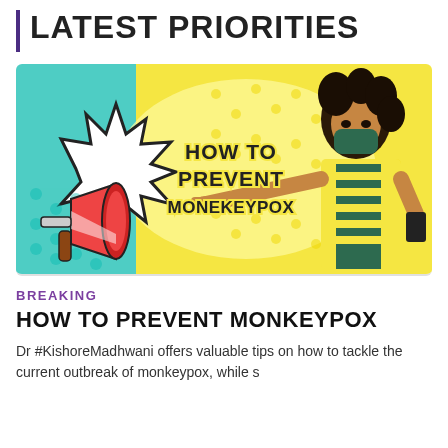LATEST PRIORITIES
[Figure (illustration): Colorful comic-style illustration showing a person wearing a green mask and yellow jacket pointing at text that reads 'HOW TO PREVENT MONEKEYPOX', with a megaphone on the left side against a yellow and teal background.]
BREAKING
HOW TO PREVENT MONKEYPOX
Dr #KishoreMadhwani offers valuable tips on how to tackle the current outbreak of monkeypox, while s